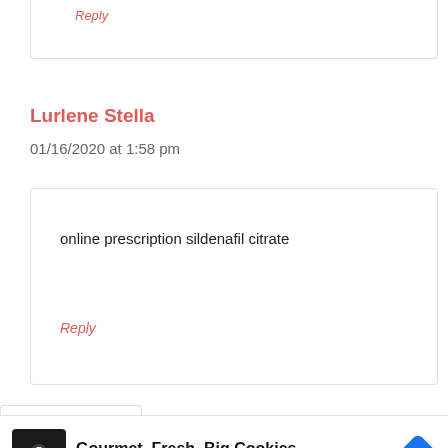Reply
Lurlene Stella
01/16/2020 at 1:58 pm
online prescription sildenafil citrate
Reply
[Figure (screenshot): Advertisement bar showing Crumbl Cookies - Ashburn with cookie icon and navigation arrow logo, with Google ad attribution triangle and X symbol]
Gourmet, Fresh, Big Cookies
Crumbl Cookies - Ashburn